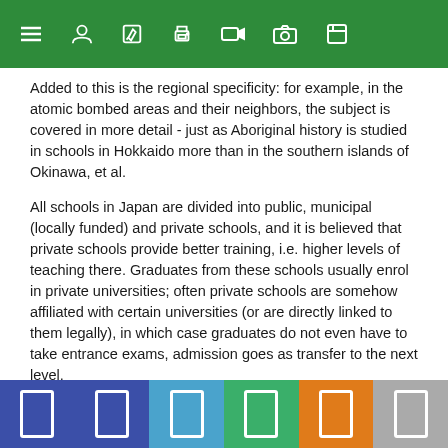[toolbar with menu, user, edit, print, video, camera, and settings icons]
Added to this is the regional specificity: for example, in the atomic bombed areas and their neighbors, the subject is covered in more detail - just as Aboriginal history is studied in schools in Hokkaido more than in the southern islands of Okinawa, et al.
All schools in Japan are divided into public, municipal (locally funded) and private schools, and it is believed that private schools provide better training, i.e. higher levels of teaching there. Graduates from these schools usually enrol in private universities; often private schools are somehow affiliated with certain universities (or are directly linked to them legally), in which case graduates do not even have to take entrance exams, admission goes as transfer to the next level.
However, there are a number of good and very good public schools whose graduates enter the most prestigious public universities. If students from state and municipal schools use standard state textbooks of the same type, in case of private schools this requirement does not exist and they choose/form the textbooks
[bottom navigation bar with colored sections]